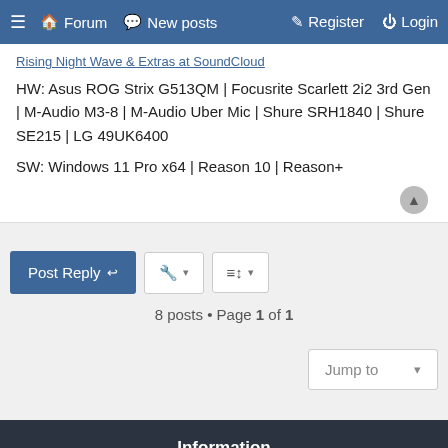≡  🏠 Forum  💬 New posts    ✎ Register  ⏻ Login
Rising Night Wave & Extras at SoundCloud
HW: Asus ROG Strix G513QM | Focusrite Scarlett 2i2 3rd Gen | M-Audio M3-8 | M-Audio Uber Mic | Shure SRH1840 | Shure SE215 | LG 49UK6400
SW: Windows 11 Pro x64 | Reason 10 | Reason+
Post Reply  |  [tools]  [sort]
8 posts • Page 1 of 1
Jump to ▾
Information